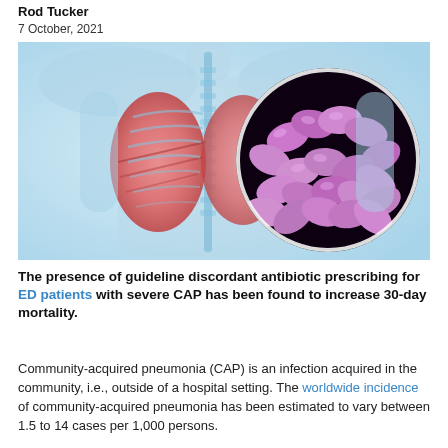Rod Tucker
7 October, 2021
[Figure (photo): Medical illustration showing a transparent human torso with highlighted lungs (pink/red) visible through a blue skeletal X-ray view, with an inset circular magnified view of pink/purple bacteria (possibly Streptococcus pneumoniae) on a dark background.]
The presence of guideline discordant antibiotic prescribing for ED patients with severe CAP has been found to increase 30-day mortality.
Community-acquired pneumonia (CAP) is an infection acquired in the community, i.e., outside of a hospital setting. The worldwide incidence of community-acquired pneumonia has been estimated to vary between 1.5 to 14 cases per 1,000 persons.